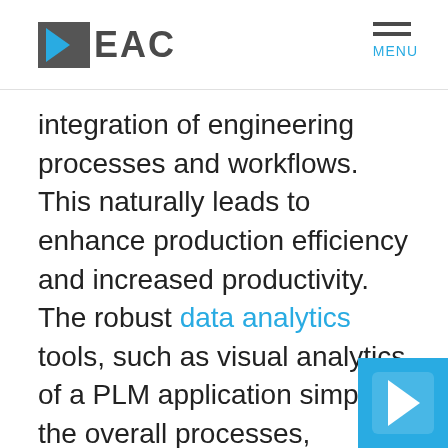EAC — MENU
integration of engineering processes and workflows. This naturally leads to enhance production efficiency and increased productivity. The robust data analytics tools, such as visual analytics of a PLM application simplify the overall processes, workflows, communications and information flows throughout the production cycle.
It leverages the full potential of integrated business systems and functions across the company, from supply chain to production
[Figure (logo): EAC logo icon in blue, bottom-right corner overlay]